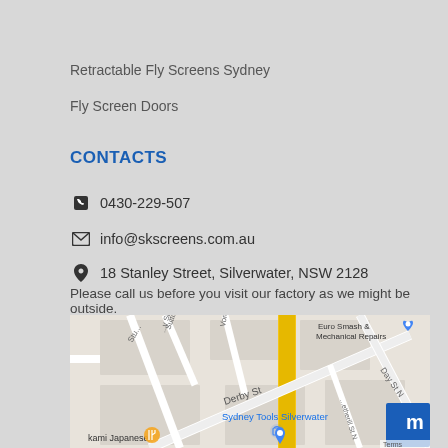Retractable Fly Screens Sydney
Fly Screen Doors
CONTACTS
📞 0430-229-507
✉ info@skscreens.com.au
📍 18 Stanley Street, Silverwater, NSW 2128
Please call us before you visit our factory as we might be outside.
[Figure (map): Google Maps showing Silverwater area with Derby St, Day St, Euro Smash & Mechanical Repairs, Sydney Tools Silverwater, and other local landmarks visible]